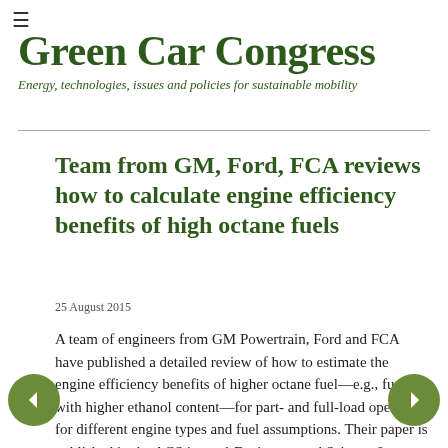≡
Green Car Congress
Energy, technologies, issues and policies for sustainable mobility
Team from GM, Ford, FCA reviews how to calculate engine efficiency benefits of high octane fuels
25 August 2015
A team of engineers from GM Powertrain, Ford and FCA have published a detailed review of how to estimate the engine efficiency benefits of higher octane fuel—e.g., fuel with higher ethanol content—for part- and full-load operation for different engine types and fuel assumptions. Their paper is published in the ACS journal Environmental Science & Technology.